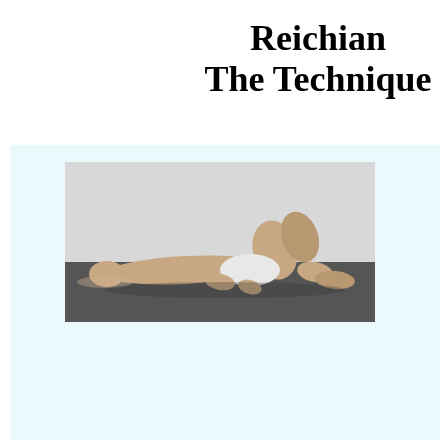Reichian The Technique
[Figure (photo): Black and white photograph of a person lying on their back on a dark surface (mat/table), shirtless, with knees bent upward, head resting back, in a Reichian breathing/bodywork position.]